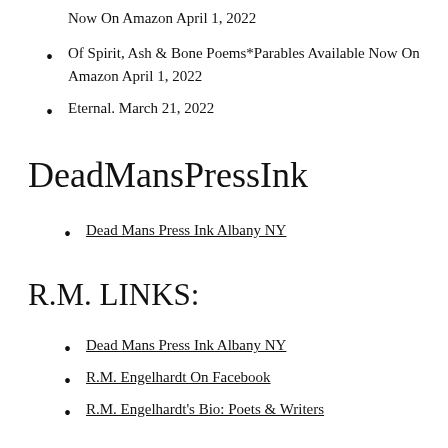Now On Amazon April 1, 2022
Of Spirit, Ash & Bone Poems*Parables Available Now On Amazon April 1, 2022
Eternal. March 21, 2022
DeadMansPressInk
Dead Mans Press Ink Albany NY
R.M. LINKS:
Dead Mans Press Ink Albany NY
R.M. Engelhardt On Facebook
R.M. Engelhardt's Bio: Poets & Writers
R.M.'s Friends & Allies ...